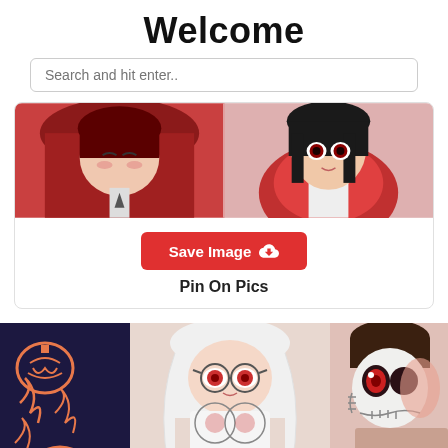Welcome
Search and hit enter..
[Figure (illustration): Anime artwork showing two characters in red and dark tones, cropped close-up of faces/upper bodies]
Save Image
Pin On Pics
[Figure (illustration): Anime artwork with Halloween theme showing characters with pumpkin motifs, white-haired character with glasses, and a skull-masked character]